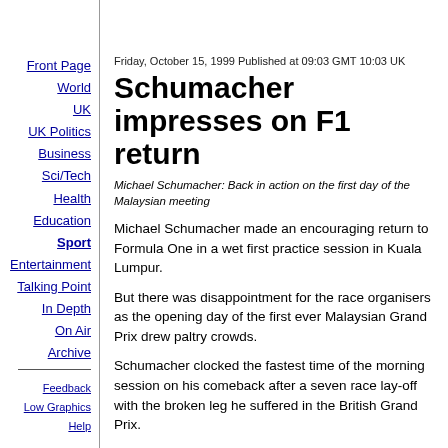Front Page
World
UK
UK Politics
Business
Sci/Tech
Health
Education
Sport
Entertainment
Talking Point
In Depth
On Air
Archive
Feedback
Low Graphics
Help
Friday, October 15, 1999 Published at 09:03 GMT 10:03 UK
Schumacher impresses on F1 return
Michael Schumacher: Back in action on the first day of the Malaysian meeting
Michael Schumacher made an encouraging return to Formula One in a wet first practice session in Kuala Lumpur.
But there was disappointment for the race organisers as the opening day of the first ever Malaysian Grand Prix drew paltry crowds.
Schumacher clocked the fastest time of the morning session on his comeback after a seven race lay-off with the broken leg he suffered in the British Grand Prix.
Germany's two-time former world champion led in his Ferrari with 1:44.824 - but ended the day fifth overall with 1:42.875 as Canada's Jacques Villeneuve (1:42.407) went quickest in a drier afternoon session.
Next came Scotland's David Coulthard, Jean Alesi of